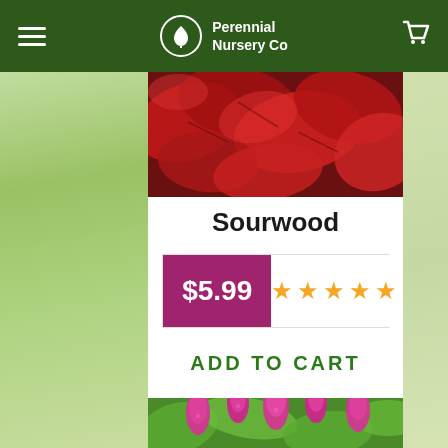Perennial Nursery Co
[Figure (photo): Red autumn leaves photo, top portion of product listing]
Sourwood
$5.99 with 4.5 star rating
ADD TO CART
[Figure (photo): Pink astilbe or similar fluffy spike flowers with green foliage background]